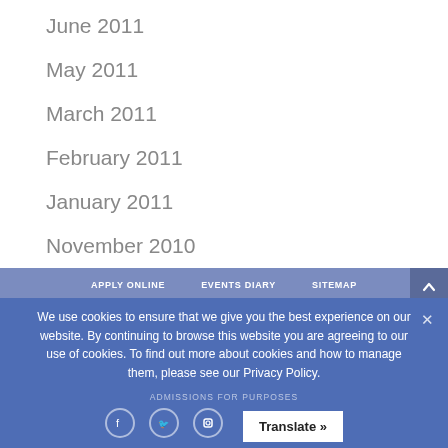June 2011
May 2011
March 2011
February 2011
January 2011
November 2010
October 2010
APPLY ONLINE   EVENTS DIARY   SITEMAP
We use cookies to ensure that we give you the best experience on our website. By continuing to browse this website you are agreeing to our use of cookies. To find out more about cookies and how to manage them, please see our Privacy Policy.
Translate »